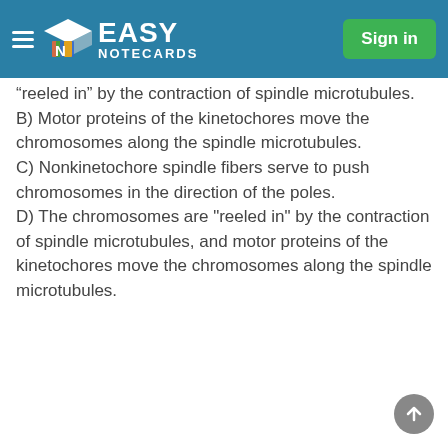Easy Notecards — Sign in
“reeled in” by the contraction of spindle microtubules.
B) Motor proteins of the kinetochores move the chromosomes along the spindle microtubules.
C) Nonkinetochore spindle fibers serve to push chromosomes in the direction of the poles.
D) The chromosomes are "reeled in" by the contraction of spindle microtubules, and motor proteins of the kinetochores move the chromosomes along the spindle microtubules.